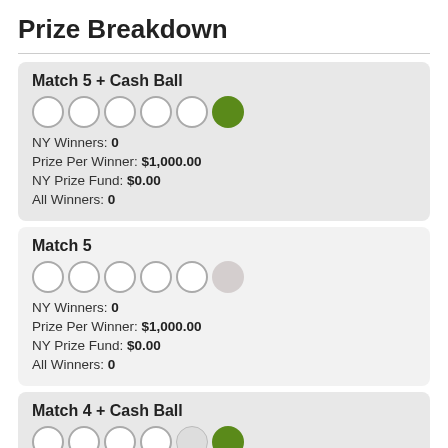Prize Breakdown
Match 5 + Cash Ball
NY Winners: 0
Prize Per Winner: $1,000.00
NY Prize Fund: $0.00
All Winners: 0
Match 5
NY Winners: 0
Prize Per Winner: $1,000.00
NY Prize Fund: $0.00
All Winners: 0
Match 4 + Cash Ball
NY Winners: 4
Prize Per Winner: $2,500.00